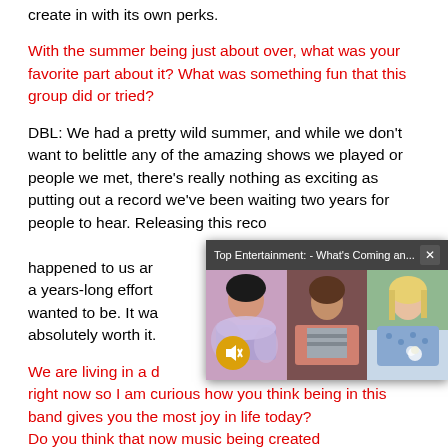create in with its own perks.
With the summer being just about over, what was your favorite part about it? What was something fun that this group did or tried?
DBL: We had a pretty wild summer, and while we don't want to belittle any of the amazing shows we played or people we met, there's really nothing as exciting as putting out a record we've been waiting two years for people to hear. Releasing this record is the best thing that happened to us and we're SO proud of it. It was a years-long effort to get the music to where we wanted to be. It was hard as hell, but absolutely worth it.
We are living in a digital entertainment age right now so I am curious how you think being in this band gives you the most joy in life today? Do you think that now music being created
[Figure (screenshot): Pop-up video thumbnail showing three women from a TV show or film, with a title bar reading 'Top Entertainment: - What's Coming an...' and a mute/close icon]